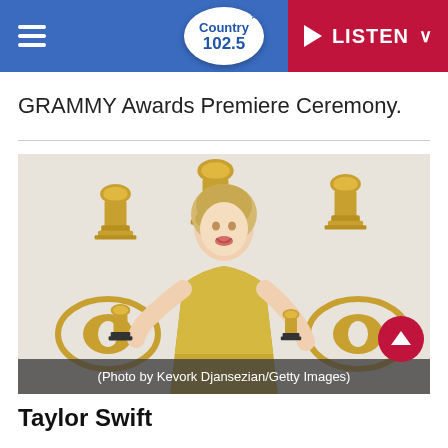Country 102.5 — LISTEN
GRAMMY Awards Premiere Ceremony.
[Figure (photo): Taylor Swift holding two Grammy Awards trophies, wearing a gold embellished dress, at a Grammy Awards photo backdrop showing Grammy logos and CBS eye logos. Photo by Kevork Djansezian/Getty Images.]
(Photo by Kevork Djansezian/Getty Images)
Taylor Swift